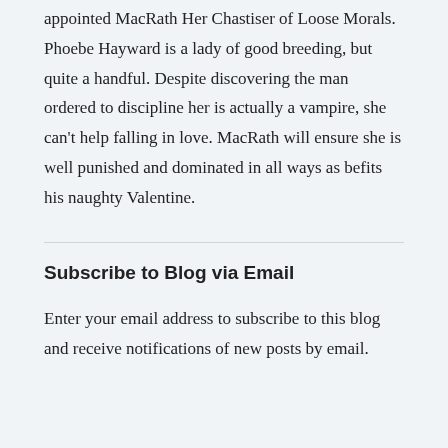appointed MacRath Her Chastiser of Loose Morals. Phoebe Hayward is a lady of good breeding, but quite a handful. Despite discovering the man ordered to discipline her is actually a vampire, she can't help falling in love. MacRath will ensure she is well punished and dominated in all ways as befits his naughty Valentine.
Subscribe to Blog via Email
Enter your email address to subscribe to this blog and receive notifications of new posts by email.